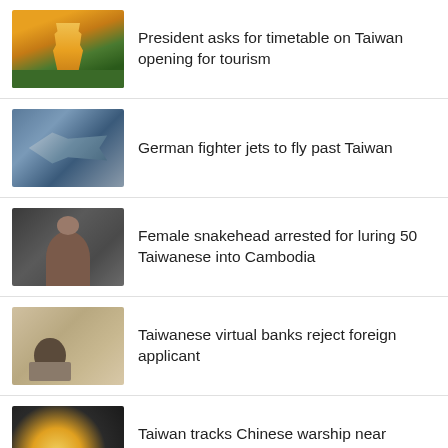President asks for timetable on Taiwan opening for tourism
German fighter jets to fly past Taiwan
Female snakehead arrested for luring 50 Taiwanese into Cambodia
Taiwanese virtual banks reject foreign applicant
Taiwan tracks Chinese warship near missile testing zone
About Us | Contact Us | Directory of Taiwan | News Archive
Easy Online Ordering McAlister's Deli